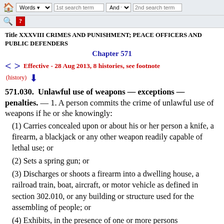Title XXXVIII CRIMES AND PUNISHMENT; PEACE OFFICERS AND PUBLIC DEFENDERS
Chapter 571
Effective - 28 Aug 2013, 8 histories, see footnote
(history)
571.030. Unlawful use of weapons — exceptions — penalties.
— 1. A person commits the crime of unlawful use of weapons if he or she knowingly:
(1) Carries concealed upon or about his or her person a knife, a firearm, a blackjack or any other weapon readily capable of lethal use; or
(2) Sets a spring gun; or
(3) Discharges or shoots a firearm into a dwelling house, a railroad train, boat, aircraft, or motor vehicle as defined in section 302.010, or any building or structure used for the assembling of people; or
(4) Exhibits, in the presence of one or more persons